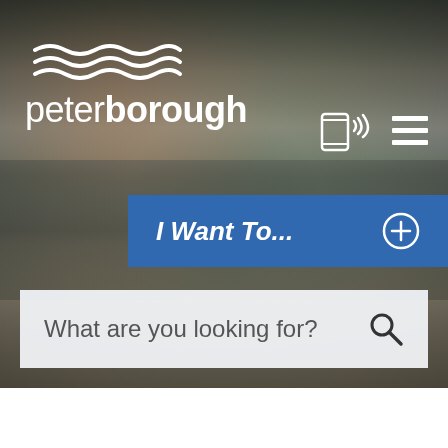[Figure (screenshot): Peterborough city council website screenshot showing the homepage with a street photo background, the city logo with wave symbol and 'peterborough' text, mobile/menu navigation icons, a blue 'I Want To...' button with a plus icon, and a search bar reading 'What are you looking for?']